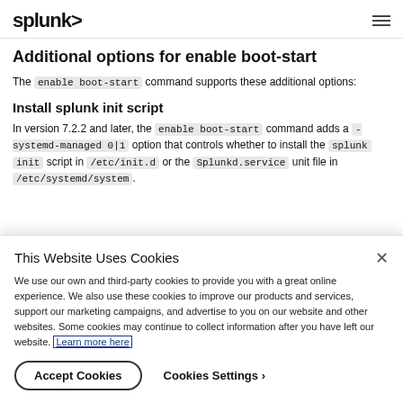splunk>
Additional options for enable boot-start
The enable boot-start command supports these additional options:
Install splunk init script
In version 7.2.2 and later, the enable boot-start command adds a -systemd-managed 0|1 option that controls whether to install the splunk init script in /etc/init.d or the Splunkd.service unit file in /etc/systemd/system.
This Website Uses Cookies
We use our own and third-party cookies to provide you with a great online experience. We also use these cookies to improve our products and services, support our marketing campaigns, and advertise to you on our website and other websites. Some cookies may continue to collect information after you have left our website. Learn more here
Accept Cookies
Cookies Settings ›